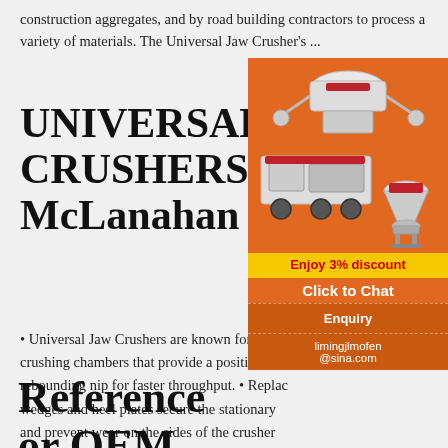construction aggregates, and by road building contractors to process a variety of materials. The Universal Jaw Crusher's ...
UNIVERSAL JAW CRUSHERS - McLanahan
Universal Jaw Crushers are known for their crushing chambers that provide a positive, non-rebounding nip for faster throughput. • Replaceable wedges and heel plates secure the stationary jaw and prevent wear on the sides of the crusher ... • Reversible manganese jaw plates provide for a severe duty wear surface that ...
[Figure (illustration): Orange advertisement panel showing industrial crushing machinery equipment (jaw crushers, cone crushers) with text 'Enjoy 3% discount', 'Click to Chat', 'Enquiry', and email 'limingjlmofen@sina.com']
Reference or OEM Part No. Machine